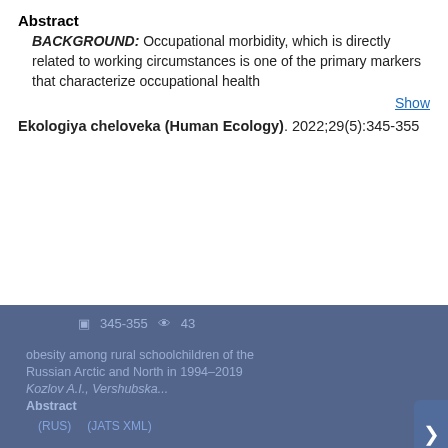Abstract
BACKGROUND: Occupational morbidity, which is directly related to working circumstances is one of the primary markers that characterize occupational health
Show
Ekologiya cheloveka (Human Ecology). 2022;29(5):345-355
[Figure (screenshot): Cookie consent modal overlay on a journal website. Modal has dark blue background with white text reading 'This website uses cookies', followed by 'You consent to our cookies if you continue to use our website.', an 'About Cookies' link, and an OK button. Behind it is visible dimmed journal content.]
BACKGROUND: There was not enough information on the spread of obesity among schoolchildren in rural settlements and small towns of Northern Russia in
Show
Ekologiya cheloveka (Human Ecology). 2022;29(5):357-366